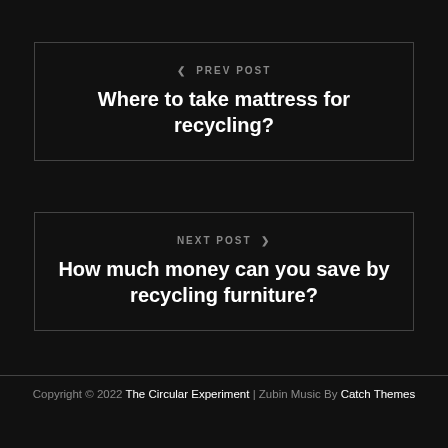PREV POST - Where to take mattress for recycling?
NEXT POST - How much money can you save by recycling furniture?
Copyright © 2022 The Circular Experiment | Zubin Music By Catch Themes